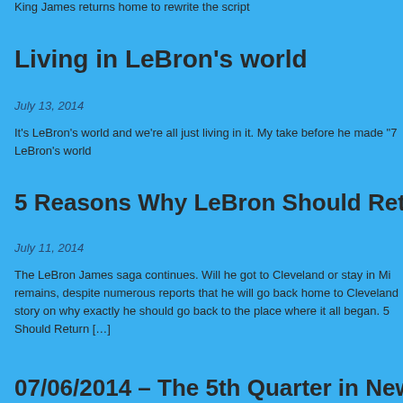King James returns home to rewrite the script
Living in LeBron's world
July 13, 2014
It's LeBron's world and we're all just living in it. My take before he made "7 LeBron's world
5 Reasons Why LeBron Should Return To Cleveland « CBS Clevelan
July 11, 2014
The LeBron James saga continues. Will he got to Cleveland or stay in Mi remains, despite numerous reports that he will go back home to Cleveland story on why exactly he should go back to the place where he all began. 5 Should Return [...]
07/06/2014 – The 5th Quarter in New York Sports on AM1240